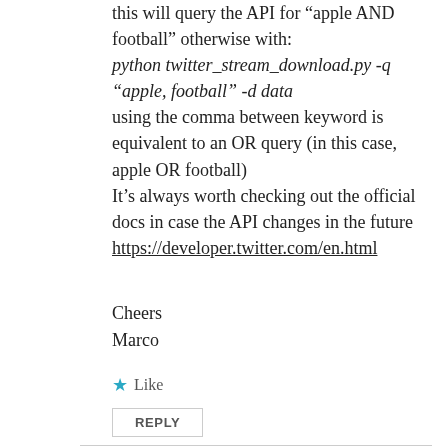this will query the API for “apple AND football” otherwise with:
python twitter_stream_download.py -q “apple, football” -d data
using the comma between keyword is equivalent to an OR query (in this case, apple OR football)
It’s always worth checking out the official docs in case the API changes in the future
https://developer.twitter.com/en.html
Cheers
Marco
★ Like
REPLY
Emre Yuksek